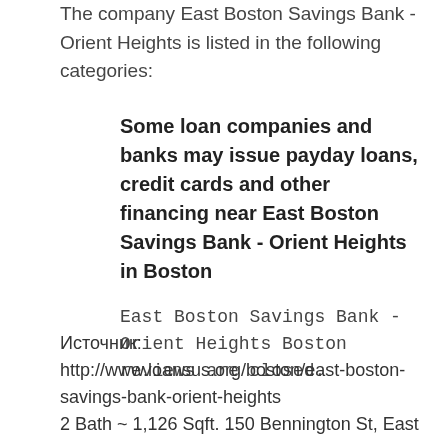The company East Boston Savings Bank - Orient Heights is listed in the following categories:
Some loan companies and banks may issue payday loans, credit cards and other financing near East Boston Savings Bank - Orient Heights in Boston
East Boston Savings Bank - Orient Heights Boston reviews are closed.
Источник:
http://www.loansus.org/boston/east-boston-savings-bank-orient-heights
2 Bath ~ 1,126 Sqft. 150 Bennington St, East